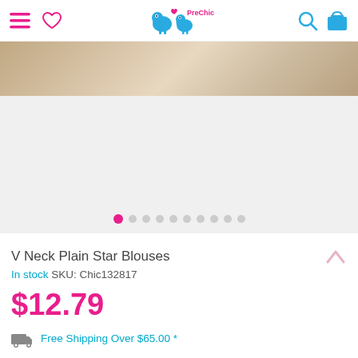PreChic — navigation header with hamburger menu, heart/wishlist, logo, search, and cart icons
[Figure (photo): Product image carousel showing a model wearing a V Neck Plain Star Blouse; photo partially visible at top, rest of carousel area is light grey. Ten pagination dots shown at bottom, first dot active (pink).]
V Neck Plain Star Blouses
In stock SKU: Chic132817
$12.79
Free Shipping Over $65.00 *